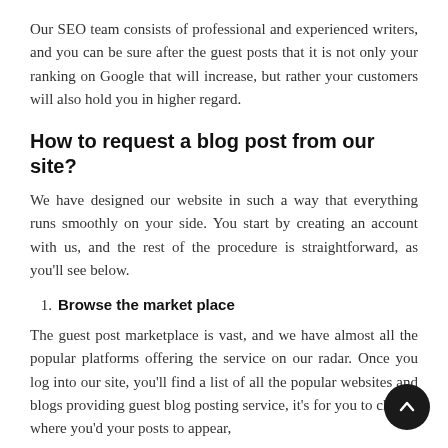Our SEO team consists of professional and experienced writers, and you can be sure after the guest posts that it is not only your ranking on Google that will increase, but rather your customers will also hold you in higher regard.
How to request a blog post from our site?
We have designed our website in such a way that everything runs smoothly on your side. You start by creating an account with us, and the rest of the procedure is straightforward, as you'll see below.
Browse the market place
The guest post marketplace is vast, and we have almost all the popular platforms offering the service on our radar. Once you log into our site, you'll find a list of all the popular websites and blogs providing guest blog posting service, it's for you to choose where you'd your posts to appear,